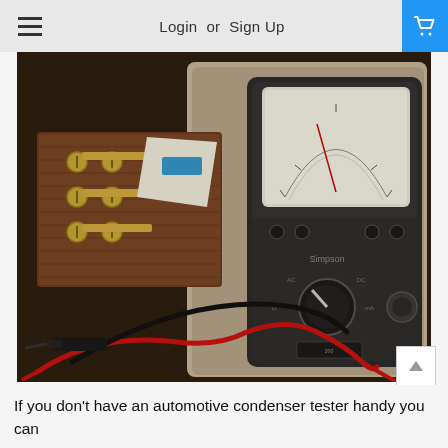Login or Sign Up
[Figure (photo): A vintage analog multimeter (Simpson brand) with red and black test probes, placed next to an old wooden terminal block with brass screws, sitting in a worn case on a workbench.]
If you don't have an automotive condenser tester handy you can